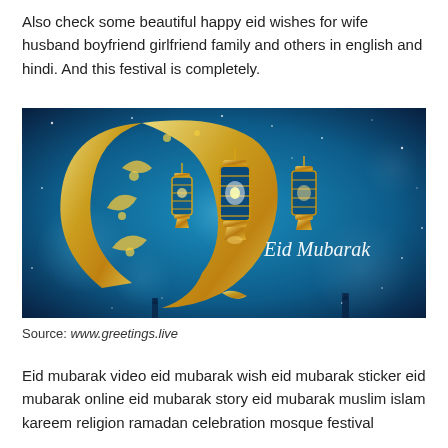Also check some beautiful happy eid wishes for wife husband boyfriend girlfriend family and others in english and hindi. And this festival is completely.
[Figure (illustration): Eid Mubarak greeting image with a golden crescent moon decorated with floral patterns, three ornate golden lanterns hanging, glowing stars on a blue background, and the text 'Eid Mubarak' in white cursive script.]
Source: www.greetings.live
Eid mubarak video eid mubarak wish eid mubarak sticker eid mubarak online eid mubarak story eid mubarak muslim islam kareem religion ramadan celebration mosque festival